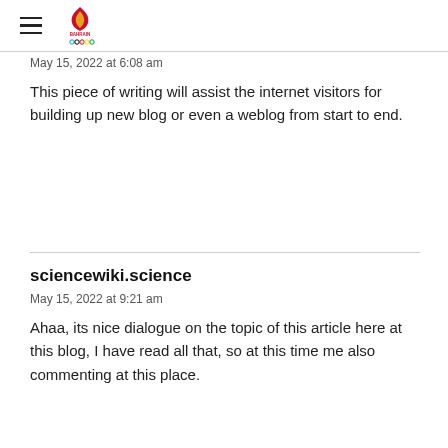Bahrain OOO (logo/menu header)
May 15, 2022 at 6:08 am
This piece of writing will assist the internet visitors for building up new blog or even a weblog from start to end.
sciencewiki.science
May 15, 2022 at 9:21 am
Ahaa, its nice dialogue on the topic of this article here at this blog, I have read all that, so at this time me also commenting at this place.